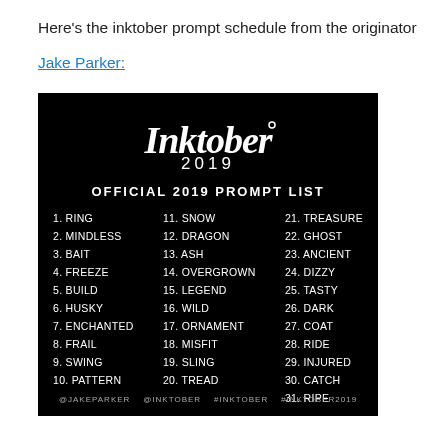Here's the inktober prompt schedule from the originator
Jake Parker:
[Figure (infographic): Inktober 2019 Official Prompt List on black background with Inktober logo. Lists 31 prompts in 3 columns: 1.RING, 2.MINDLESS, 3.BAIT, 4.FREEZE, 5.BUILD, 6.HUSKY, 7.ENCHANTED, 8.FRAIL, 9.SWING, 10.PATTERN, 11.SNOW, 12.DRAGON, 13.ASH, 14.OVERGROWN, 15.LEGEND, 16.WILD, 17.ORNAMENT, 18.MISFIT, 19.SLING, 20.TREAD, 21.TREASURE, 22.GHOST, 23.ANCIENT, 24.DIZZY, 25.TASTY, 26.DARK, 27.COAT, 28.RIDE, 29.INJURED, 30.CATCH, 31.RIPE. Footer: @JAKEPARKER @INKTOBER #INKTOBER #INKTOBER2019]